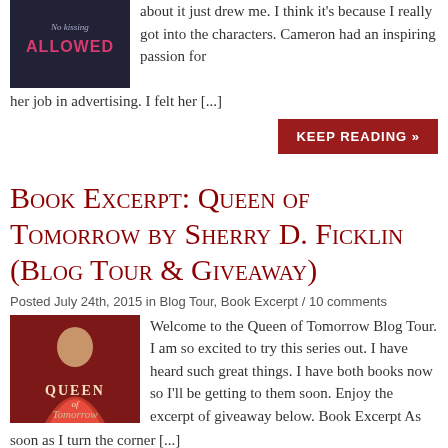[Figure (illustration): Book cover for 'No Kissing Allowed' with dark background and pink/magenta title text]
about it just drew me. I think it's because I really got into the characters. Cameron had an inspiring passion for her job in advertising. I felt her [...]
KEEP READING »
Book Excerpt: Queen of Tomorrow by Sherry D. Ficklin (Blog Tour & Giveaway)
Posted July 24th, 2015 in Blog Tour, Book Excerpt / 10 comments
[Figure (illustration): Book cover for 'Queen of Tomorrow' featuring a woman in a red dress against a red background]
Welcome to the Queen of Tomorrow Blog Tour. I am so excited to try this series out. I have heard such great things. I have both books now so I'll be getting to them soon. Enjoy the excerpt of giveaway below.  Book Excerpt As soon as I turn the corner [...]